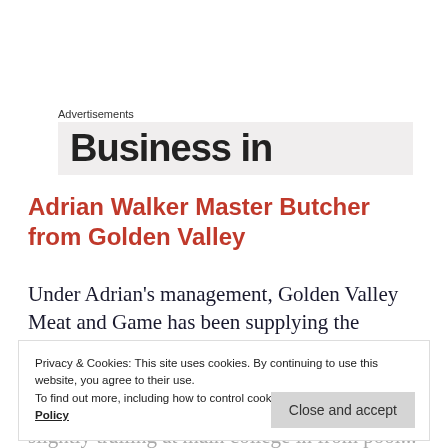Advertisements
[Figure (other): Partial advertisement banner showing the text 'Business in' in bold, cut off at the bottom edge of the banner area]
Adrian Walker Master Butcher from Golden Valley
Under Adrian's management, Golden Valley Meat and Game has been supplying the highest quality meat, poultry and game to the retail and catering
Privacy & Cookies: This site uses cookies. By continuing to use this website, you agree to their use.
To find out more, including how to control cookies, see here: Cookie Policy
slightly trailing at main college in from pool...